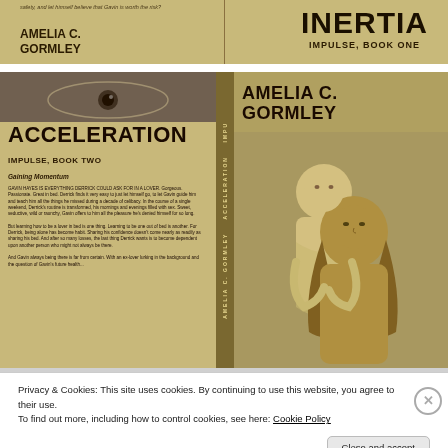[Figure (photo): Top book cover: Inertia, Impulse Book One by Amelia C. Gormley. Sepia-toned cover with author name on left and large title INERTIA / IMPULSE, BOOK ONE on right. Small italic text at top reads: 'safety, and let himself believe that Gavin is worth the risk?']
[Figure (photo): Bottom book cover: Acceleration, Impulse Book Two by Amelia C. Gormley. Sepia-toned full wraparound cover showing two male figures embracing on the right, a close-up eye at top left, and book text/blurb on the front cover left side. Spine shows AMELIA C. GORMLEY / ACCELERATION. Author name on back top right.]
Privacy & Cookies: This site uses cookies. By continuing to use this website, you agree to their use.
To find out more, including how to control cookies, see here: Cookie Policy
Close and accept